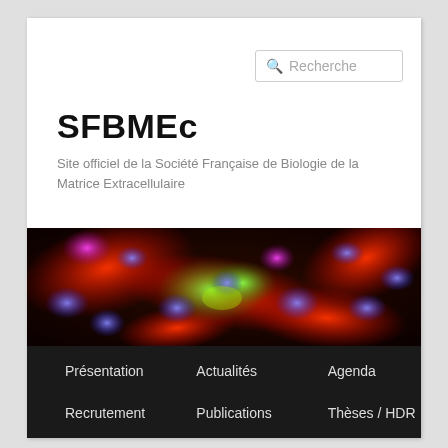Recherche
SFBMEc
Site officiel de la Société Française de Biologie de la Matrice Extracellulaire
[Figure (photo): Fluorescence microscopy image of cells showing blue nuclei (DAPI), red and green cytoskeletal/extracellular matrix staining, and magenta/pink structures against a dark background.]
Présentation
Actualités
Agenda
Recrutement
Publications
Thèses / HDR
Nous rejoindre